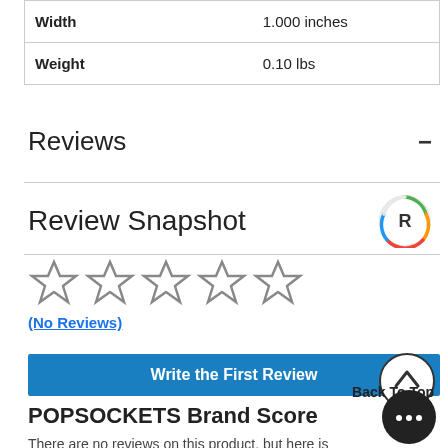|  |  |
| --- | --- |
| Width | 1.000 inches |
| Weight | 0.10 lbs |
Reviews
Review Snapshot
[Figure (other): Five empty star rating icons indicating no reviews]
(No Reviews)
Write the First Review
Back To Top
POPSOCKETS Brand Score
There are no reviews on this product, but here is how POPSOCKETS is rated overall in the Smartphone Accessories